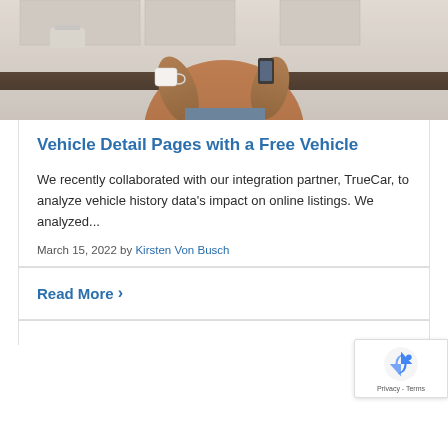[Figure (photo): Woman in a kitchen holding a smartphone and a white mug, wearing an orange/rust top and jeans, leaning against a dark countertop]
Vehicle Detail Pages with a Free Vehicle
We recently collaborated with our integration partner, TrueCar, to analyze vehicle history data's impact on online listings. We analyzed...
March 15, 2022 by Kirsten Von Busch
Read More >
[Figure (other): reCAPTCHA badge with logo and Privacy - Terms links]